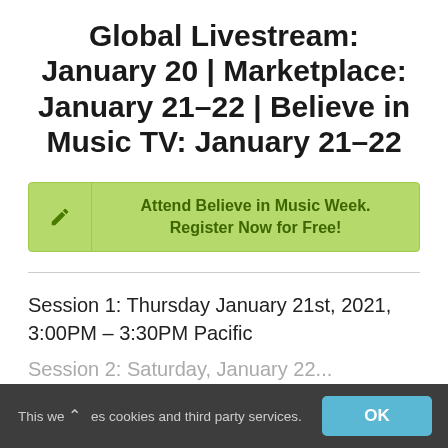Global Livestream: January 20 | Marketplace: January 21–22 | Believe in Music TV: January 21–22
Attend Believe in Music Week. Register Now for Free!
Session 1: Thursday January 21st, 2021, 3:00PM – 3:30PM Pacific
Session 2: ... (partially visible)
This we ^ es cookies and third party services. OK